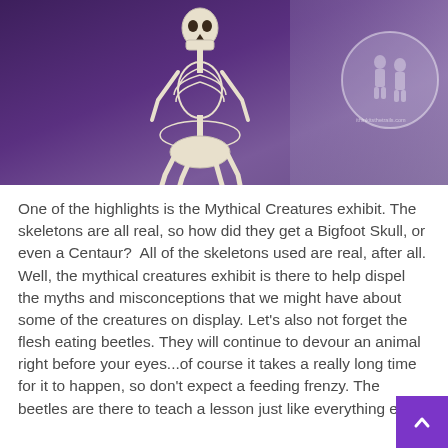[Figure (photo): A centaur skeleton exhibit displayed against a purple/dark background, with a circular watermark logo in the top right corner. The skeleton appears to be standing, showing a horse-body lower half and human upper torso.]
One of the highlights is the Mythical Creatures exhibit. The skeletons are all real, so how did they get a Bigfoot Skull, or even a Centaur?  All of the skeletons used are real, after all. Well, the mythical creatures exhibit is there to help dispel the myths and misconceptions that we might have about some of the creatures on display. Let's also not forget the flesh eating beetles. They will continue to devour an animal right before your eyes...of course it takes a really long time for it to happen, so don't expect a feeding frenzy. The beetles are there to teach a lesson just like everything else.